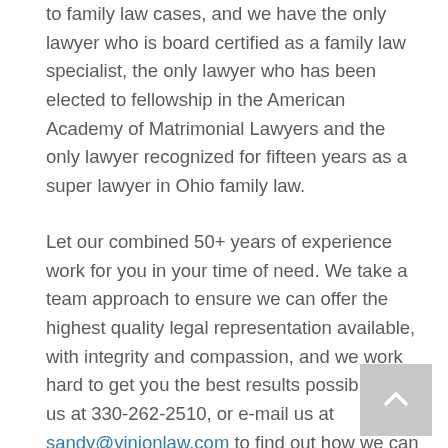to family law cases, and we have the only lawyer who is board certified as a family law specialist, the only lawyer who has been elected to fellowship in the American Academy of Matrimonial Lawyers and the only lawyer recognized for fifteen years as a super lawyer in Ohio family law.
Let our combined 50+ years of experience work for you in your time of need. We take a team approach to ensure we can offer the highest quality legal representation available, with integrity and compassion, and we work hard to get you the best results possible. Call us at 330-262-2510, or e-mail us at sandy@vinionlaw.com to find out how we can work together to protect your rights.